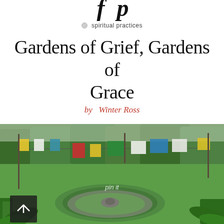f p
spiritual practices
Gardens of Grief, Gardens of Grace
by  Winter Ross
[Figure (photo): A garden with colorful prayer flags strung between poles, a circular stone labyrinth or mandala in the grass, tropical plants and trees in the background. A 'pin it' overlay label is visible in the center of the image. A scroll-to-top button with an up arrow is in the lower left corner.]